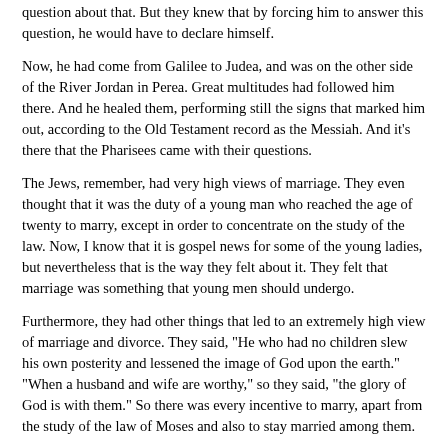question about that. But they knew that by forcing him to answer this question, he would have to declare himself.
Now, he had come from Galilee to Judea, and was on the other side of the River Jordan in Perea. Great multitudes had followed him there. And he healed them, performing still the signs that marked him out, according to the Old Testament record as the Messiah. And it's there that the Pharisees came with their questions.
The Jews, remember, had very high views of marriage. They even thought that it was the duty of a young man who reached the age of twenty to marry, except in order to concentrate on the study of the law. Now, I know that it is gospel news for some of the young ladies, but nevertheless that is the way they felt about it. They felt that marriage was something that young men should undergo.
Furthermore, they had other things that led to an extremely high view of marriage and divorce. They said, "He who had no children slew his own posterity and lessened the image of God upon the earth." "When a husband and wife are worthy," so they said, "the glory of God is with them." So there was every incentive to marry, apart from the study of the law of Moses and also to stay married among them.
The Jewish laws of marriage and purity also aimed high. Ideally, divorce was hated. God said in Malachi chapter 2, a passage that it